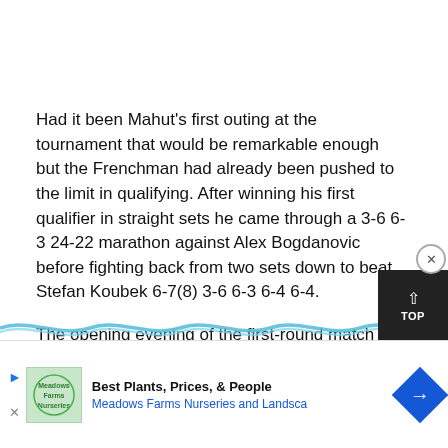Had it been Mahut's first outing at the tournament that would be remarkable enough but the Frenchman had already been pushed to the limit in qualifying. After winning his first qualifier in straight sets he came through a 3-6 6-3 24-22 marathon against Alex Bogdanovic before fighting back from two sets down to beat Stefan Koubek 6-7(8) 3-6 6-3 6-4 6-4.

The opening evening of the first-round match against Isner was ordinary
[Figure (other): Blue wavy decorative line divider]
[Figure (other): Advertisement banner: Meadows Farms Nurseries and Landscape - Best Plants, Prices, & People]
[Figure (other): Black TOP button with upward arrow in bottom right corner]